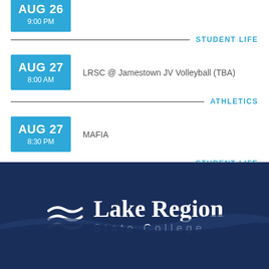AUG 26 9:00 PM
STUDENT LIFE
AUG 27 8:00 AM — LRSC @ Jamestown JV Volleyball (TBA)
ATHLETICS
AUG 27 8:30 PM — MAFIA
STUDENT LIFE
[Figure (logo): Lake Region State College logo with wave icon on dark navy background]